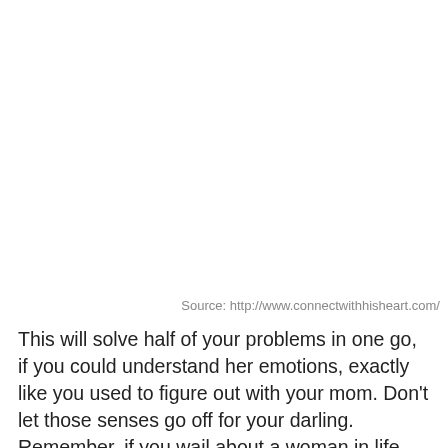Source: http://www.connectwithhisheart.com/
This will solve half of your problems in one go, if you could understand her emotions, exactly like you used to figure out with your mom. Don't let those senses go off for your darling. Remember, if you wail about a woman in life being too emotional at every step, you must meet a man with a woman minus emotions. OMG!! So, please understand her